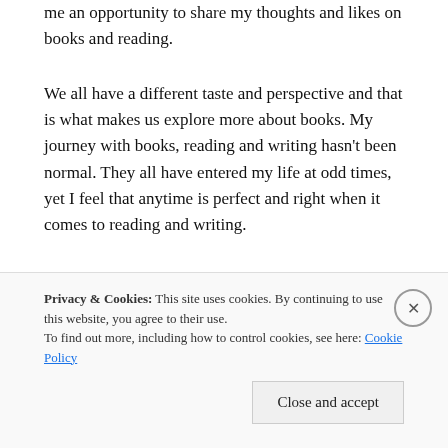me an opportunity to share my thoughts and likes on books and reading.
We all have a different taste and perspective and that is what makes us explore more about books. My journey with books, reading and writing hasn't been normal. They all have entered my life at odd times, yet I feel that anytime is perfect and right when it comes to reading and writing.
There are a lot of books that I haven't read and haven't known. Life seems too short when I think
Privacy & Cookies: This site uses cookies. By continuing to use this website, you agree to their use.
To find out more, including how to control cookies, see here: Cookie Policy
Close and accept